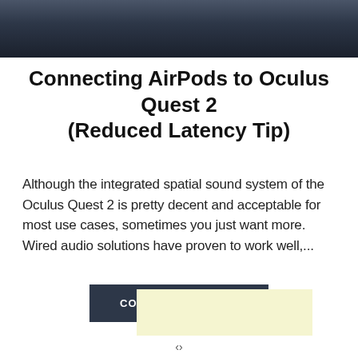[Figure (photo): Dark surface photo strip at the top of the page, dark gray/black gradient background]
Connecting AirPods to Oculus Quest 2 (Reduced Latency Tip)
Although the integrated spatial sound system of the Oculus Quest 2 is pretty decent and acceptable for most use cases, sometimes you just want more. Wired audio solutions have proven to work well,...
CONTINUE READING
[Figure (other): Light yellow advertisement placeholder box]